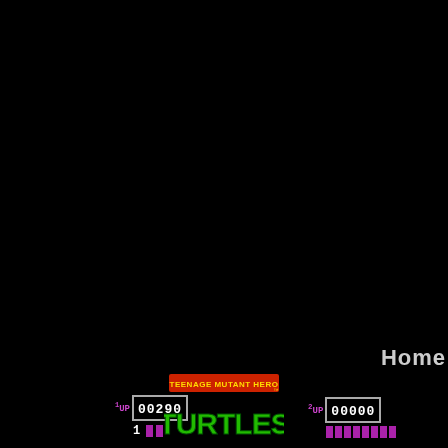[Figure (screenshot): Teenage Mutant Hero Turtles arcade game screenshot. Mostly black screen with HUD at bottom showing Player 1 score 00290, Player 2 score 00000, TMHT logo in center, life/health bars. Text 'Home' visible on right side around 3/4 down the screen.]
Home
1UP 00290
2UP 00000